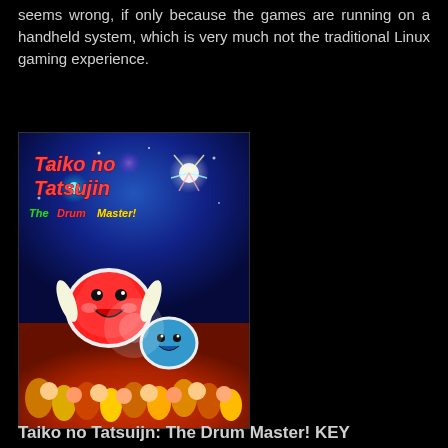seems wrong, if only because the games are running on a handheld system, which is very much not the traditional Linux gaming experience.
[Figure (illustration): Taiko no Tatsujin: The Drum Master! game cover art showing colorful cartoon drum characters and crowd]
Taiko no Tatsuijn: The Drum Master! KEY